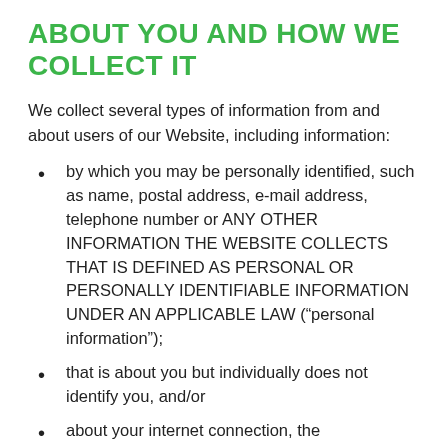ABOUT YOU AND HOW WE COLLECT IT
We collect several types of information from and about users of our Website, including information:
by which you may be personally identified, such as name, postal address, e-mail address, telephone number or ANY OTHER INFORMATION THE WEBSITE COLLECTS THAT IS DEFINED AS PERSONAL OR PERSONALLY IDENTIFIABLE INFORMATION UNDER AN APPLICABLE LAW (“personal information”);
that is about you but individually does not identify you, and/or
about your internet connection, the